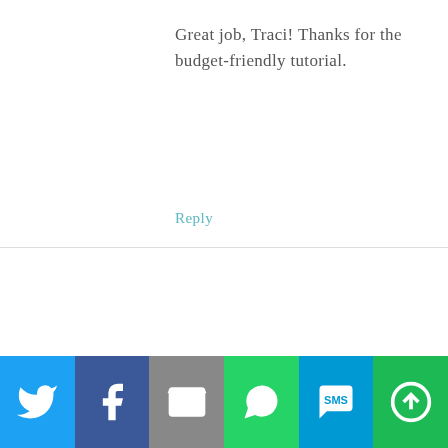Great job, Traci! Thanks for the budget-friendly tutorial.
Reply
SHERRY HART says
SEPTEMBER 3, 2013 AT 6:19 PM
You are amazing!
[Figure (infographic): Social sharing bar with icons for Twitter (blue), Facebook (dark blue), Email (gray), WhatsApp (green), SMS (light blue), and More (green)]